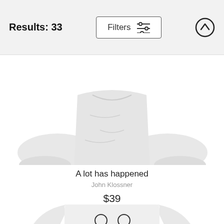Results: 33
Filters
[Figure (photo): White long-sleeve shirt product photo, upper portion visible including sleeves and torso against white background]
A lot has happened
John Klossner
$39
[Figure (photo): White long-sleeve shirt product photo with cartoon graphic print, lower portion of page]